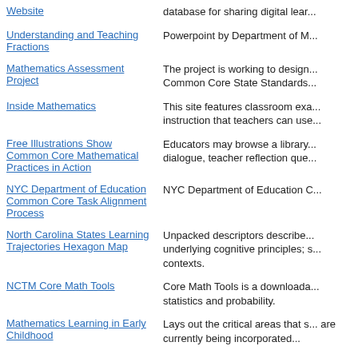Website
database for sharing digital lear...
Understanding and Teaching Fractions
Powerpoint by Department of M...
Mathematics Assessment Project
The project is working to design... Common Core State Standards...
Inside Mathematics
This site features classroom exa... instruction that teachers can use...
Free Illustrations Show Common Core Mathematical Practices in Action
Educators may browse a library... dialogue, teacher reflection que...
NYC Department of Education Common Core Task Alignment Process
NYC Department of Education C...
North Carolina States Learning Trajectories Hexagon Map
Unpacked descriptors describe... underlying cognitive principles; s... contexts.
NCTM Core Math Tools
Core Math Tools is a downloada... statistics and probability.
Mathematics Learning in Early Childhood
Lays out the critical areas that s... are currently being incorporated...
Tools for the Common Core Standards
News about tools that are being...
Illustrative Mathematics
Provides guidance to educators... implementation of the CCSS, an...